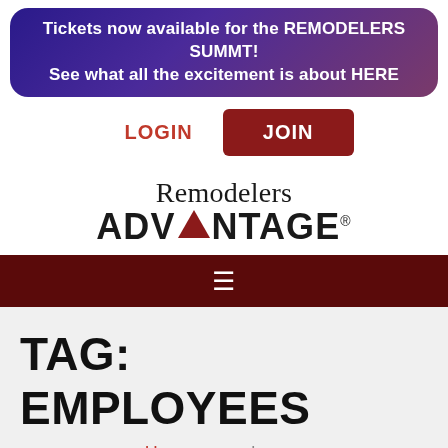Tickets now available for the REMODELERS SUMMT! See what all the excitement is about HERE
LOGIN
JOIN
[Figure (logo): Remodelers ADVANTAGE logo with red triangle replacing the A in ADVANTAGE]
[Figure (infographic): Dark red navigation bar with hamburger menu icon]
TAG: EMPLOYEES
Home > employees